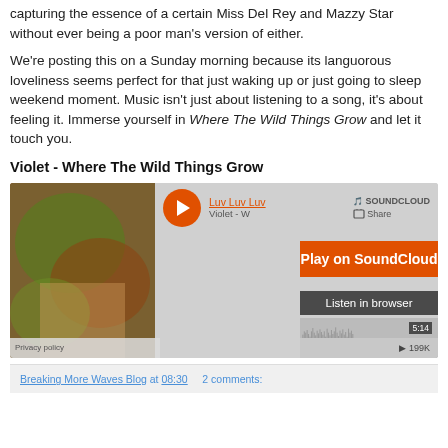capturing the essence of a certain Miss Del Rey and Mazzy Star without ever being a poor man's version of either.
We're posting this on a Sunday morning because its languorous loveliness seems perfect for that just waking up or just going to sleep weekend moment. Music isn't just about listening to a song, it's about feeling it. Immerse yourself in Where The Wild Things Grow and let it touch you.
Violet - Where The Wild Things Grow
[Figure (screenshot): SoundCloud embedded music player widget showing 'Luv Luv Luv' by Violet - W, with play button, waveform, 'Play on SoundCloud' button, 'Listen in browser' button, duration 5:14, and 199K plays.]
Breaking More Waves Blog at 08:30   2 comments: